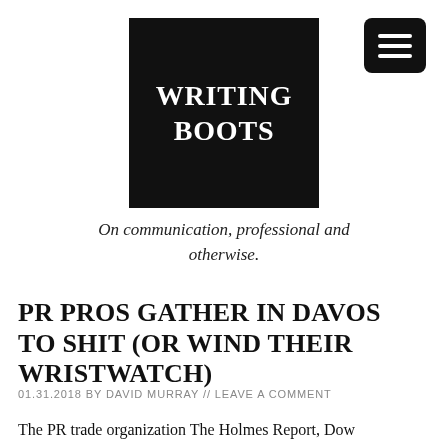[Figure (logo): Writing Boots logo: black square with white bold serif text reading WRITING BOOTS]
[Figure (other): Hamburger menu button: black rounded rectangle with three white horizontal lines]
On communication, professional and otherwise.
PR PROS GATHER IN DAVOS TO SHIT (OR WIND THEIR WRISTWATCH)
01.31.2018 by DAVID MURRAY // LEAVE A COMMENT
The PR trade organization The Holmes Report, Dow